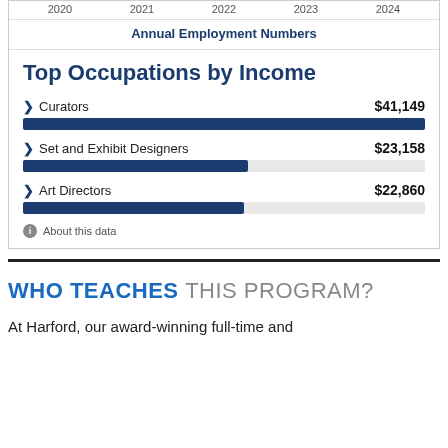[Figure (bar-chart): Annual Employment Numbers]
Annual Employment Numbers
Top Occupations by Income
About this data
WHO TEACHES THIS PROGRAM?
At Harford, our award-winning full-time and